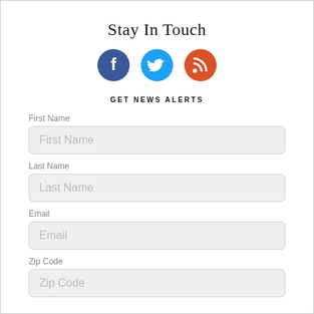Stay In Touch
[Figure (illustration): Three social media icons: Facebook (blue circle with white F), Twitter (blue circle with white bird), RSS (orange circle with white signal icon)]
GET NEWS ALERTS
First Name
First Name
Last Name
Last Name
Email
Email
Zip Code
Zip Code